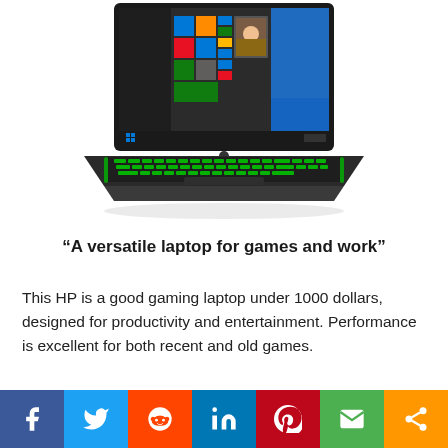[Figure (photo): HP Pavilion gaming laptop with green backlit keyboard and Windows 10 Start Menu displayed on screen, shown from a front-center angle on white background.]
“A versatile laptop for games and work”
This HP is a good gaming laptop under 1000 dollars, designed for productivity and entertainment. Performance is excellent for both recent and old games.
[Figure (infographic): Social sharing bar with buttons: Facebook (blue), Twitter (blue), Reddit (orange), LinkedIn (blue), Pinterest (red), Email (green), Share (orange).]